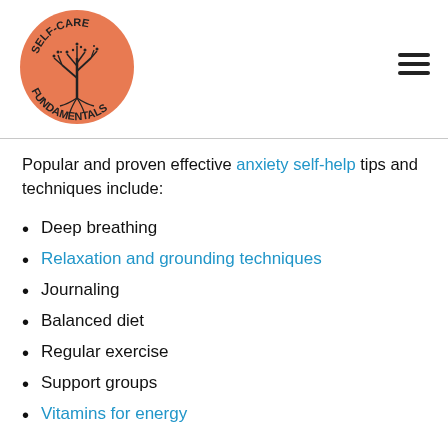[Figure (logo): Self-Care Fundamentals circular logo with orange background and tree illustration]
Popular and proven effective anxiety self-help tips and techniques include:
Deep breathing
Relaxation and grounding techniques
Journaling
Balanced diet
Regular exercise
Support groups
Vitamins for energy
Deep, diaphragmatic has consistently been proven to reduce the severity of